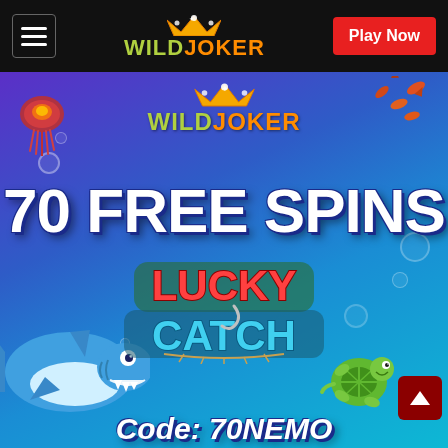[Figure (screenshot): Wild Joker casino website navigation bar with hamburger menu on left, Wild Joker logo in center, and red Play Now button on right, on black background]
[Figure (illustration): Wild Joker casino promotional banner with underwater ocean theme. Features Wild Joker logo at top center, large white bold text reading '70 FREE SPINS', Lucky Catch slot game logo in center, cartoon shark on left, cartoon turtle on right, jellyfish top-left, red fish group top-right, and promo code text 'Code: 70NEMO' at bottom. Purple-blue gradient underwater background with bubbles.]